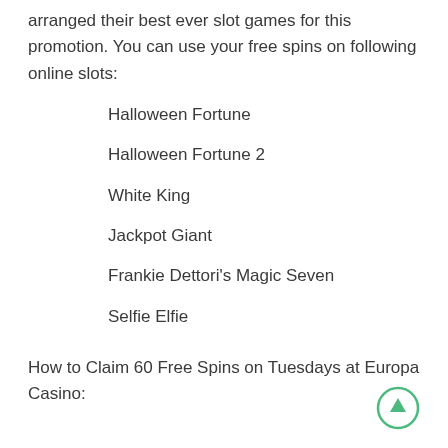arranged their best ever slot games for this promotion. You can use your free spins on following online slots:
Halloween Fortune
Halloween Fortune 2
White King
Jackpot Giant
Frankie Dettori's Magic Seven
Selfie Elfie
How to Claim 60 Free Spins on Tuesdays at Europa Casino: